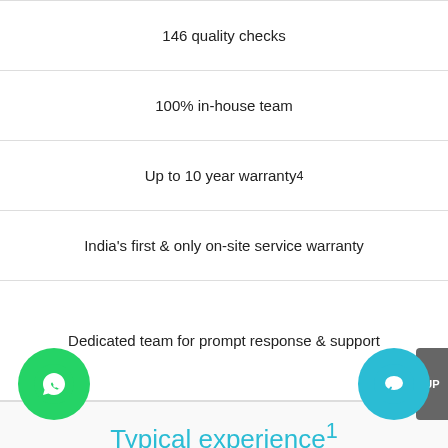| 146 quality checks |
| 100% in-house team |
| Up to 10 year warranty⁴ |
| India's first & only on-site service warranty |
| Dedicated team for prompt response & support |
Typical experience¹
Contractors